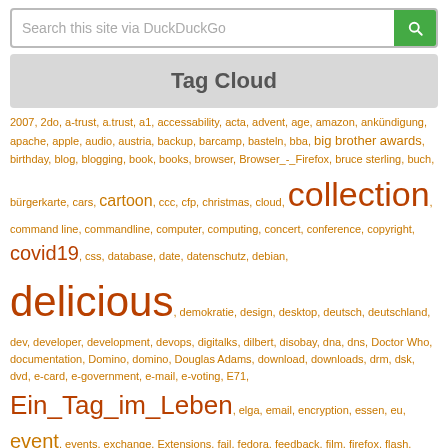[Figure (screenshot): Search box with DuckDuckGo placeholder text and green search button]
Tag Cloud
2007, 2do, a-trust, a.trust, a1, accessability, acta, advent, age, amazon, ankündigung, apache, apple, audio, austria, backup, barcamp, basteln, bba, big brother awards, birthday, blog, blogging, book, books, browser, Browser_-_Firefox, bruce sterling, buch, bürgerkarte, cars, cartoon, ccc, cfp, christmas, cloud, collection, command line, commandline, computer, computing, concert, conference, copyright, covid19, css, database, date, datenschutz, debian, delicious, demokratie, design, desktop, deutsch, deutschland, dev, developer, development, devops, digitalks, dilbert, disobay, dna, dns, Doctor Who, documentation, Domino, domino, Douglas Adams, download, downloads, drm, dsk, dvd, e-card, e-government, e-mail, e-voting, E71, Ein_Tag_im_Leben, elga, email, encryption, essen, eu, event, events, exchange, Extensions, fail, fedora, feedback, film, firefox, flash, flightexpress, food, foto, fsfe, fun, future, games, gaming, geek, geld, gleichberechtigung, google, graz, grüne, grüninnen, hack, hacker, handtuch, handy, hardware, HHGTTG, history, how-to, howto, hp, html, humor, IBM, ibm, ical, iCalendar, image, innovation, intel, internet, internet explorer, iphone, ipod, isp, IT, it, java, javascript, job, journalismus, keyboard